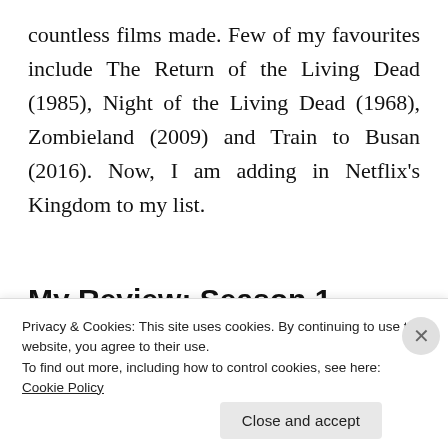countless films made. Few of my favourites include The Return of the Living Dead (1985), Night of the Living Dead (1968), Zombieland (2009) and Train to Busan (2016). Now, I am adding in Netflix's Kingdom to my list.
My Review: Season 1
The de Netflix's Kingdom feat...
Privacy & Cookies: This site uses cookies. By continuing to use this website, you agree to their use.
To find out more, including how to control cookies, see here: Cookie Policy